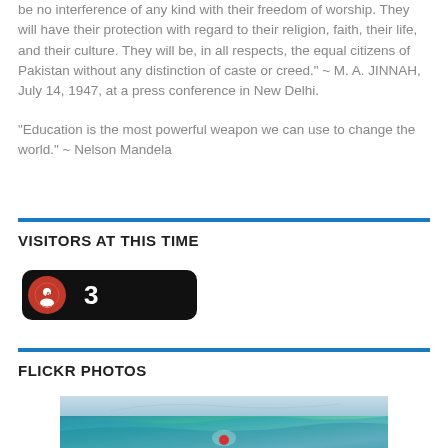be no interference of any kind with their freedom of worship. They will have their protection with regard to their religion, faith, their life, and their culture. They will be, in all respects, the equal citizens of Pakistan without any distinction of caste or creed." ~ M. A. JINNAH, July 14, 1947, at a press conference in New Delhi.
"Education is the most powerful weapon we can use to change the world." ~ Nelson Mandela
VISITORS AT THIS TIME
[Figure (other): A dark rounded widget showing a visitor counter with a red circular icon on the left and the number 3 in white text on a black background.]
FLICKR PHOTOS
[Figure (photo): A Flickr photo showing an aerial or wide view of turquoise water/ocean waves with a small red figure visible, likely a surfer or person in the water.]